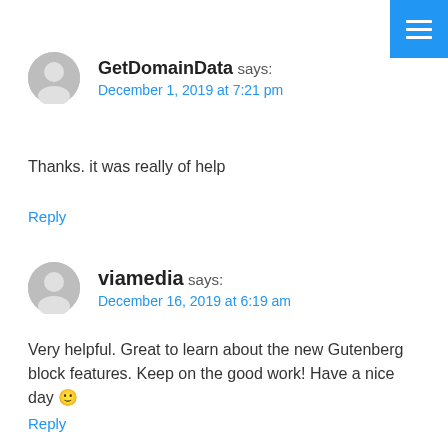[Figure (other): Blue hamburger menu button in top-right corner]
GetDomainData says:
December 1, 2019 at 7:21 pm
Thanks. it was really of help
Reply
viamedia says:
December 16, 2019 at 6:19 am
Very helpful. Great to learn about the new Gutenberg block features. Keep on the good work! Have a nice day 🙂
Reply
Anil Sardiwal says:
February 6, 2020 at 1:55 pm